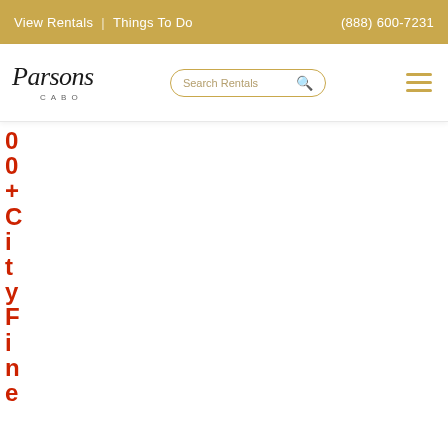View Rentals | Things To Do   (888) 600-7231
[Figure (logo): Parsons Cabo cursive logo with CABO subtitle]
Search Rentals
0 0 + C i t y F i n e